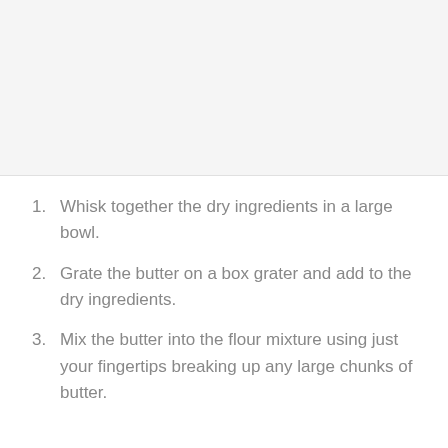[Figure (photo): Top portion of page showing a light gray/white image area (likely a food/recipe photo that is mostly blank or washed out)]
Whisk together the dry ingredients in a large bowl.
Grate the butter on a box grater and add to the dry ingredients.
Mix the butter into the flour mixture using just your fingertips breaking up any large chunks of butter.